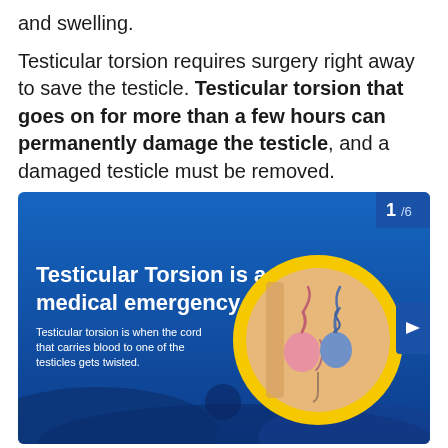and swelling.
Testicular torsion requires surgery right away to save the testicle. Testicular torsion that goes on for more than a few hours can permanently damage the testicle, and a damaged testicle must be removed.
[Figure (infographic): Blue infographic slide labeled '1/6' showing 'Testicular Torsion is a medical emergency' with subtitle 'Testicular torsion is when the cord that carries blood to one of the testicles gets twisted.' and an anatomical illustration of testicles in a yellow circle on the right side, with a navigation arrow on the far right.]